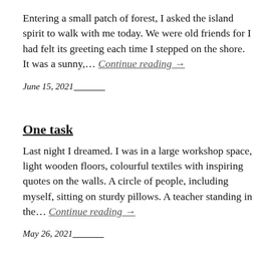Entering a small patch of forest, I asked the island spirit to walk with me today. We were old friends for I had felt its greeting each time I stepped on the shore. It was a sunny,... Continue reading →
June 15, 2021
One task
Last night I dreamed. I was in a large workshop space, light wooden floors, colourful textiles with inspiring quotes on the walls. A circle of people, including myself, sitting on sturdy pillows. A teacher standing in the... Continue reading →
May 26, 2021